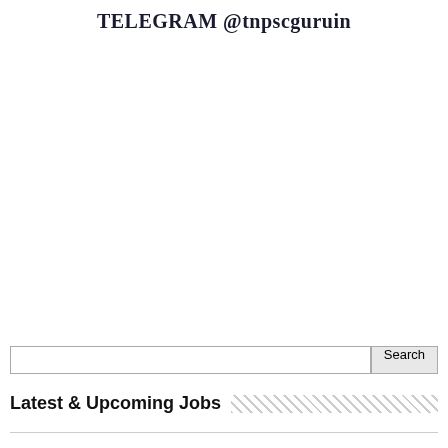TELEGRAM @tnpscguruin
Latest & Upcoming Jobs